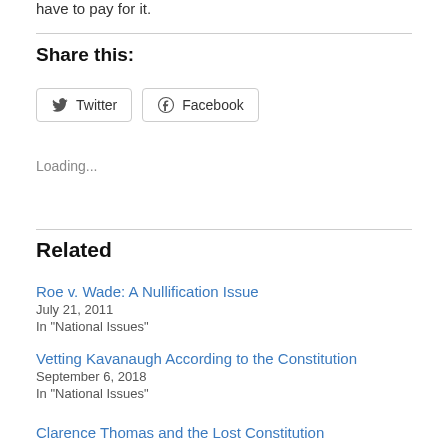have to pay for it.
Share this:
[Figure (other): Share buttons for Twitter and Facebook]
Loading...
Related
Roe v. Wade: A Nullification Issue
July 21, 2011
In "National Issues"
Vetting Kavanaugh According to the Constitution
September 6, 2018
In "National Issues"
Clarence Thomas and the Lost Constitution